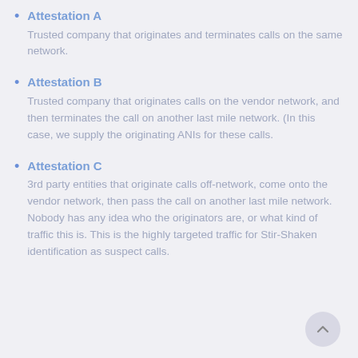Attestation A
Trusted company that originates and terminates calls on the same network.
Attestation B
Trusted company that originates calls on the vendor network, and then terminates the call on another last mile network. (In this case, we supply the originating ANIs for these calls.
Attestation C
3rd party entities that originate calls off-network, come onto the vendor network, then pass the call on another last mile network. Nobody has any idea who the originators are, or what kind of traffic this is. This is the highly targeted traffic for Stir-Shaken identification as suspect calls.